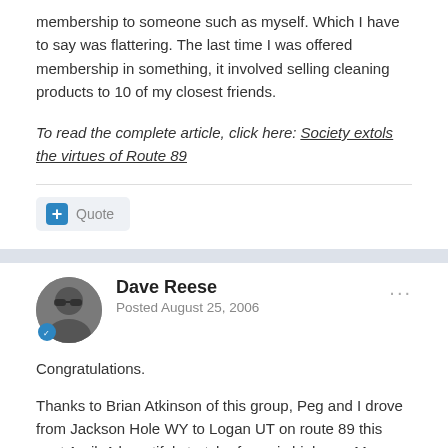membership to someone such as myself. Which I have to say was flattering. The last time I was offered membership in something, it involved selling cleaning products to 10 of my closest friends.
To read the complete article, click here: Society extols the virtues of Route 89
Quote
Dave Reese
Posted August 25, 2006
Congratulations.

Thanks to Brian Atkinson of this group, Peg and I drove from Jackson Hole WY to Logan UT on route 89 this past April. A beautiful stretch of scenic highway. My favorite view was looking north to Bear Lake. Try it, you'll like it!